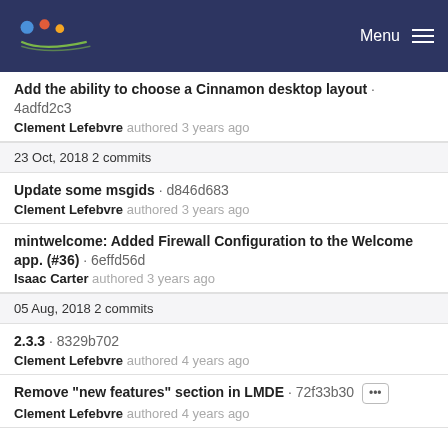Menu
Add the ability to choose a Cinnamon desktop layout · 4adfd2c3
Clement Lefebvre authored 3 years ago
23 Oct, 2018 2 commits
Update some msgids · d846d683
Clement Lefebvre authored 3 years ago
mintwelcome: Added Firewall Configuration to the Welcome app. (#36) · 6effd56d
Isaac Carter authored 3 years ago
05 Aug, 2018 2 commits
2.3.3 · 8329b702
Clement Lefebvre authored 4 years ago
Remove "new features" section in LMDE · 72f33b30 ...
Clement Lefebvre authored 4 years ago